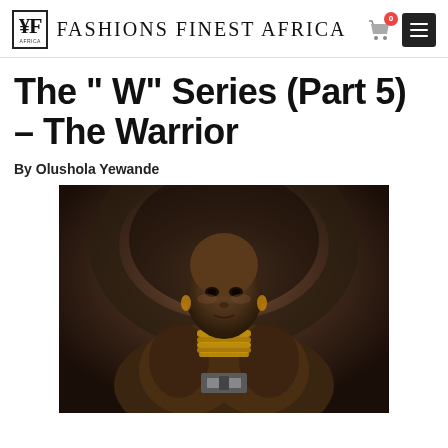Fashions Finest Africa
The " W" Series (Part 5) – The Warrior
By Olushola Yewande
[Figure (photo): A Black woman warrior with shaved head, wearing multiple gold/brass neck rings and a fur garment with a large belt buckle, posed dramatically against a dark arched stone background.]